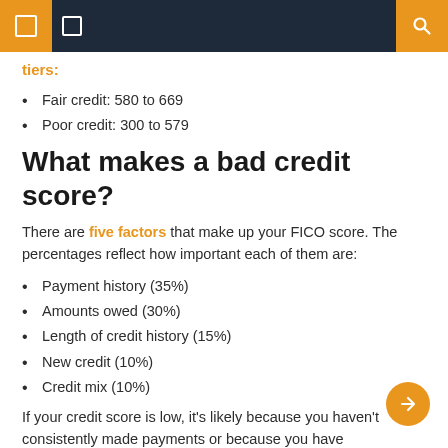tiers:
Fair credit: 580 to 669
Poor credit: 300 to 579
What makes a bad credit score?
There are five factors that make up your FICO score. The percentages reflect how important each of them are:
Payment history (35%)
Amounts owed (30%)
Length of credit history (15%)
New credit (10%)
Credit mix (10%)
If your credit score is low, it's likely because you haven't consistently made payments or because you have